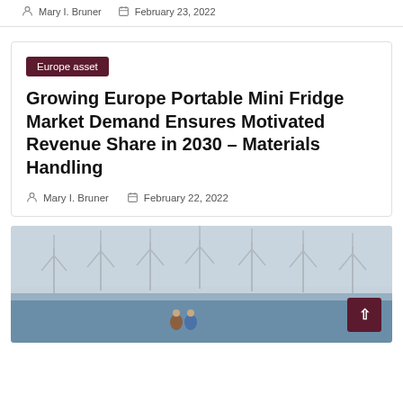Mary I. Bruner   February 23, 2022
Europe asset
Growing Europe Portable Mini Fridge Market Demand Ensures Motivated Revenue Share in 2030 – Materials Handling
Mary I. Bruner   February 22, 2022
[Figure (photo): Couple standing on shore looking at offshore wind turbines in misty conditions]